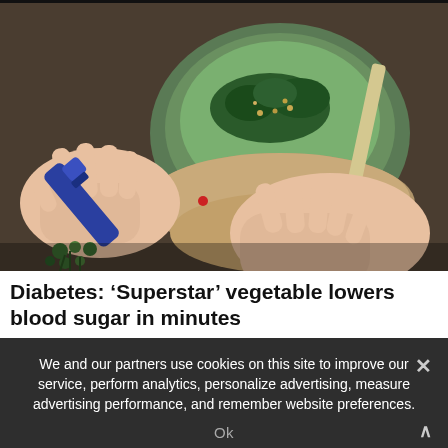[Figure (photo): A person holding a blue insulin pen or lancet device over a bowl of green vegetable soup with kale and seeds, with a red drop of blood on their fingertip.]
Diabetes: ‘Superstar’ vegetable lowers blood sugar in minutes
We and our partners use cookies on this site to improve our service, perform analytics, personalize advertising, measure advertising performance, and remember website preferences.
Ok